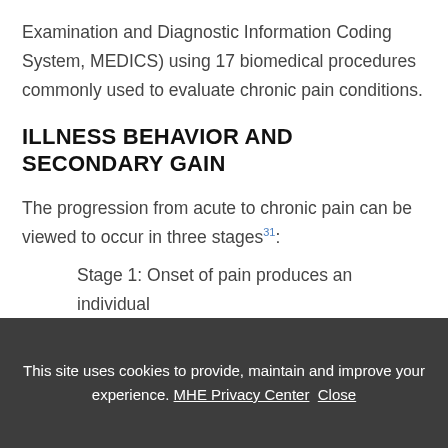Examination and Diagnostic Information Coding System, MEDICS) using 17 biomedical procedures commonly used to evaluate chronic pain conditions.
ILLNESS BEHAVIOR AND SECONDARY GAIN
The progression from acute to chronic pain can be viewed to occur in three stages31:
Stage 1: Onset of pain produces an individual
This site uses cookies to provide, maintain and improve your experience. MHE Privacy Center  Close